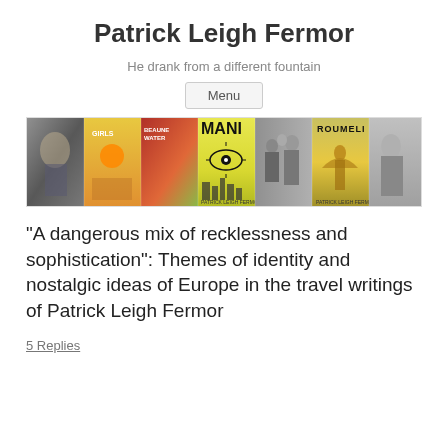Patrick Leigh Fermor
He drank from a different fountain
Menu
[Figure (photo): A horizontal banner of book covers and photos related to Patrick Leigh Fermor, including a black-and-white portrait photo, colorful book covers for titles including 'MANI' and 'ROUMELI', and a military group photo.]
“A dangerous mix of recklessness and sophistication”: Themes of identity and nostalgic ideas of Europe in the travel writings of Patrick Leigh Fermor
5 Replies